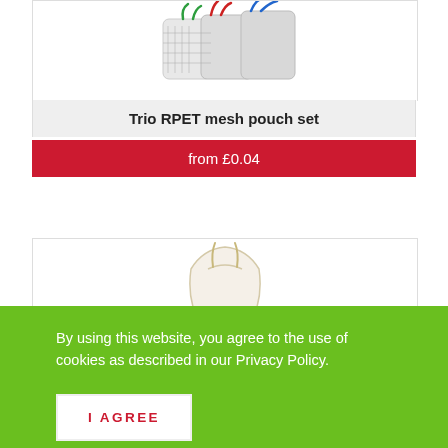[Figure (photo): Trio RPET mesh pouch set product image — colorful mesh pouches with red, green, and blue drawstrings, cropped at top]
Trio RPET mesh pouch set
from £0.04
[Figure (photo): White drawstring cotton bag product image, partially visible]
By using this website, you agree to the use of cookies as described in our Privacy Policy.
I AGREE